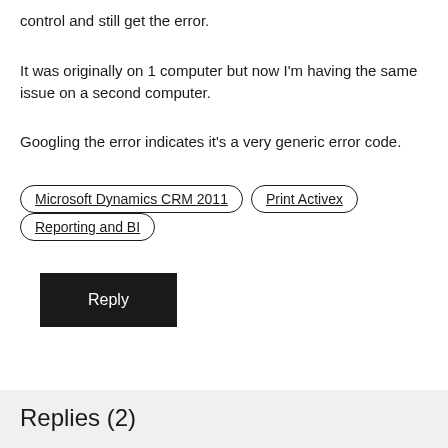control and still get the error.
It was originally on 1 computer but now I'm having the same issue on a second computer.
Googling the error indicates it's a very generic error code.
Microsoft Dynamics CRM 2011
Print Activex
Reporting and BI
Reply
Replies (2)